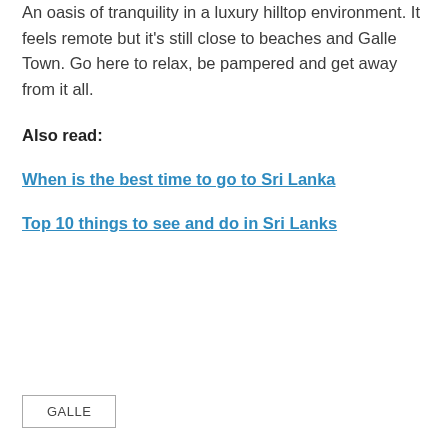An oasis of tranquility in a luxury hilltop environment. It feels remote but it's still close to beaches and Galle Town. Go here to relax, be pampered and get away from it all.
Also read:
When is the best time to go to Sri Lanka
Top 10 things to see and do in Sri Lanks
GALLE